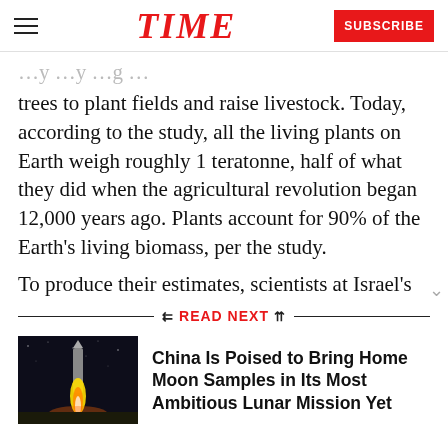TIME | SUBSCRIBE
trees to plant fields and raise livestock. Today, according to the study, all the living plants on Earth weigh roughly 1 teratonne, half of what they did when the agricultural revolution began 12,000 years ago. Plants account for 90% of the Earth's living biomass, per the study.
To produce their estimates, scientists at Israel's
READ NEXT
[Figure (photo): Nighttime rocket launch photo, dark background with bright rocket flame]
China Is Poised to Bring Home Moon Samples in Its Most Ambitious Lunar Mission Yet